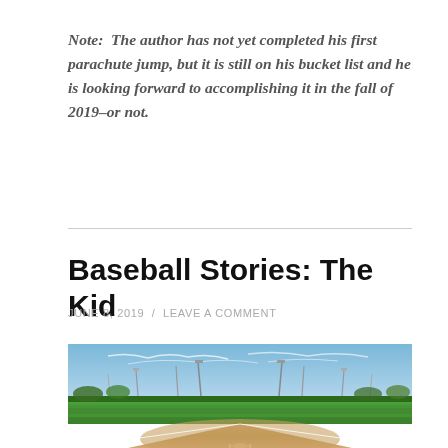Note:  The author has not yet completed his first parachute jump, but it is still on his bucket list and he is looking forward to accomplishing it in the fall of 2019–or not.
Baseball Stories: The Kid
JUNE 8, 2019  /  LEAVE A COMMENT
[Figure (photo): Wide-angle photograph of a baseball field from behind home plate, showing green outfield grass, infield dirt, green outfield wall, light poles, and a blue sky with wispy clouds.]